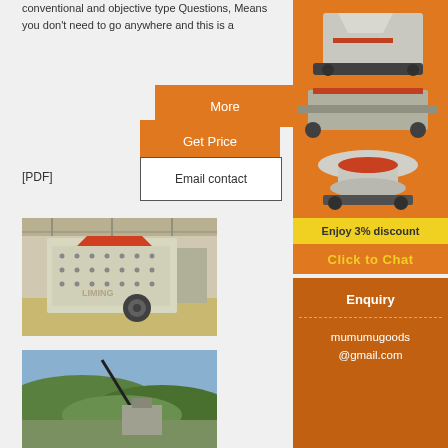conventional and objective type Questions, Means you don't need to go anywhere and this is a
[Figure (other): Orange 'More' button]
[Figure (other): Orange 'Get Price' button]
[PDF]
[Figure (other): White 'Email contact' button with border]
[Figure (photo): Industrial impact crusher machine in a factory setting, cream/beige color with red-painted interior opening, mounted on wheels]
[Figure (photo): Outdoor mining/quarrying equipment installation in hilly terrain]
[Figure (photo): Side panel showing multiple mining crusher/mill machines on orange background]
Enjoy 3% discount
Click to Chat
Enquiry
mumumugoods @gmail.com